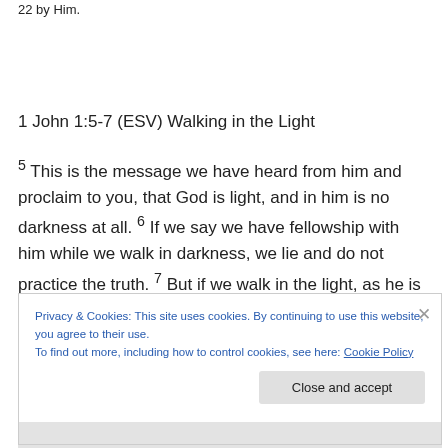22 by Him.
1 John 1:5-7 (ESV) Walking in the Light
5 This is the message we have heard from him and proclaim to you, that God is light, and in him is no darkness at all. 6 If we say we have fellowship with him while we walk in darkness, we lie and do not practice the truth. 7 But if we walk in the light, as he is in the light, we
Privacy & Cookies: This site uses cookies. By continuing to use this website, you agree to their use.
To find out more, including how to control cookies, see here: Cookie Policy
Close and accept